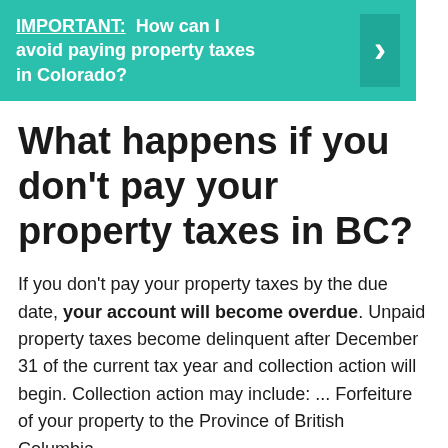[Figure (infographic): Teal banner with text: IMPORTANT: How can I avoid paying property taxes in Colorado? with a right-arrow chevron on the right side.]
What happens if you don't pay your property taxes in BC?
If you don't pay your property taxes by the due date, your account will become overdue. Unpaid property taxes become delinquent after December 31 of the current tax year and collection action will begin. Collection action may include: ... Forfeiture of your property to the Province of British Columbia.
How much is the home